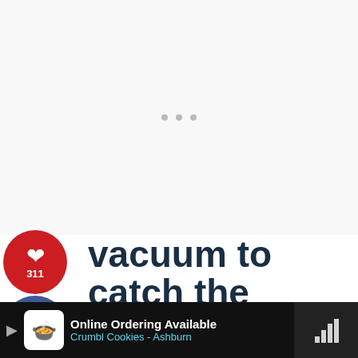[Figure (screenshot): Ad placeholder area at top of page with three grey dots indicating loading]
[Figure (infographic): Social media share sidebar with Pinterest (311 shares), Facebook, Heart/Save (3), and Twitter buttons on the left side]
vacuum to catch the dust and dirt
[Figure (infographic): Floating right sidebar with heart button showing 317 saves and a share button]
[Figure (screenshot): What's Next widget showing Homemade Shower... with a teal water bottle thumbnail]
It can be annoying to lug out the vacuum and its attachments, but if you have a brush attachment (e
[Figure (screenshot): Bottom advertisement banner: Online Ordering Available, Crumbl Cookies - Ashburn with navigation arrow icon and close button]